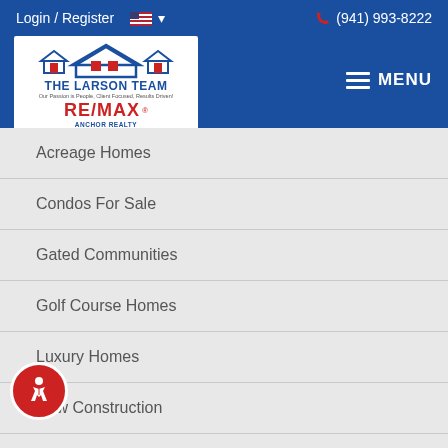Login / Register  (941) 993-8222  MENU
[Figure (logo): The Larson Team RE/MAX Anchor Realty logo with house icons]
Acreage Homes
Condos For Sale
Gated Communities
Golf Course Homes
Luxury Homes
New Construction
north port fl
-Friendly Condos
Pool Homes